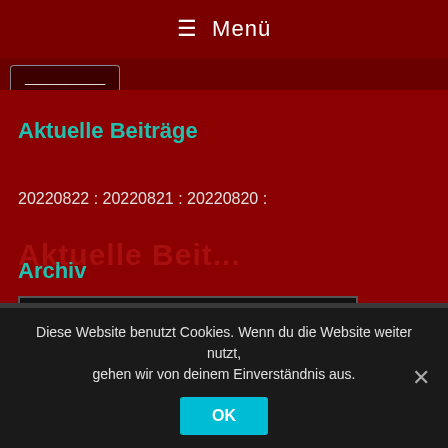☰ Menü
Aktuelle Beiträge
20220822 : 20220821 : 20220820 :
Archiv
Monat auswählen
Diese Website benutzt Cookies. Wenn du die Website weiter nutzt, gehen wir von deinem Einverständnis aus.